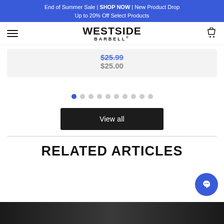End of Summer Sale | SHOP NOW | New Product Drop Up to 20% Off Select Products
[Figure (logo): Westside Barbell logo with hamburger menu and cart icon in navigation bar]
$25.00 (strikethrough sale price) $25.00
[Figure (other): Carousel pagination dots, 10 dots with first one active/blue]
View all
RELATED ARTICLES
[Figure (photo): Dark/grayscale article image strip at bottom of page]